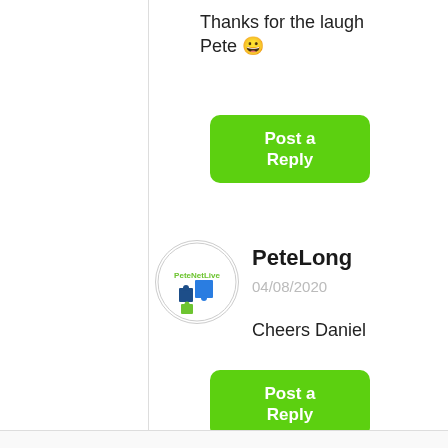Thanks for the laugh Pete 😀
[Figure (other): Green 'Post a Reply' button]
[Figure (logo): PeteNetLive circular avatar logo with puzzle pieces]
PeteLong
04/08/2020
Cheers Daniel
[Figure (other): Green 'Post a Reply' button]